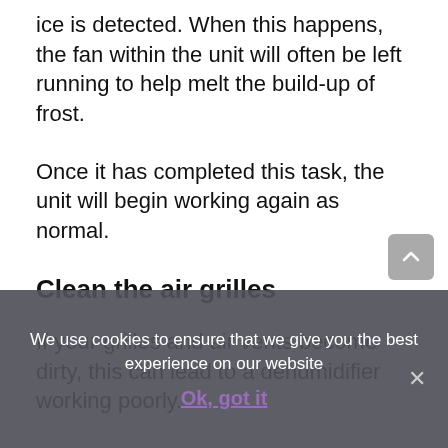ice is detected. When this happens, the fan within the unit will often be left running to help melt the build-up of frost.
Once it has completed this task, the unit will begin working again as normal.
Clean the air grilles
If your grilles and air vents become dirty, this can lead to a dehumidifier working poorly.
Once that a unit has completed a session, ensure to
We use cookies to ensure that we give you the best experience on our website
Ok, got it